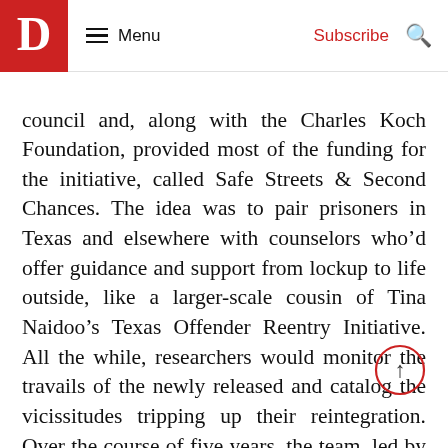D Menu | Subscribe
council and, along with the Charles Koch Foundation, provided most of the funding for the initiative, called Safe Streets & Second Chances. The idea was to pair prisoners in Texas and elsewhere with counselors who’d offer guidance and support from lockup to life outside, like a larger-scale cousin of Tina Naidoo’s Texas Offender Reentry Initiative. All the while, researchers would monitor the travails of the newly released and catalog the vicissitudes tripping up their reintegration. Over the course of five years, the team, led by a Florida State professor named Carrie Pettus-Davis, would figure out what helped and what didn’t. If the approach reduced recidivism, Right on Crime would help push the program to other states with argument that lending a hand to former prisoners